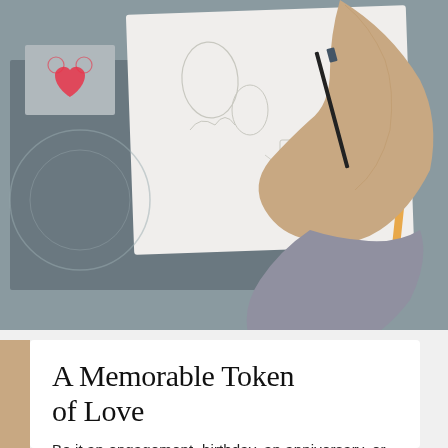[Figure (photo): A hand holding a pen drawing jewelry sketches on paper laid on a gray table, with colored design references visible.]
A Memorable Token of Love
Be it an engagement, birthday, an anniversary, or just another day, make each moment special for your